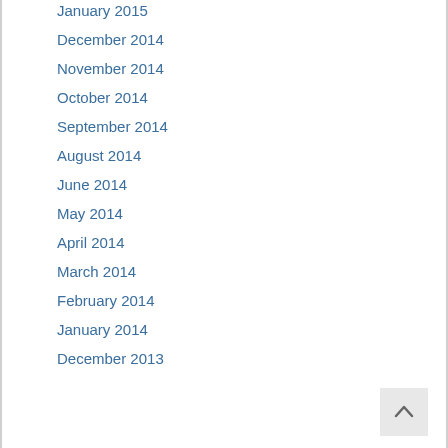January 2015
December 2014
November 2014
October 2014
September 2014
August 2014
June 2014
May 2014
April 2014
March 2014
February 2014
January 2014
December 2013